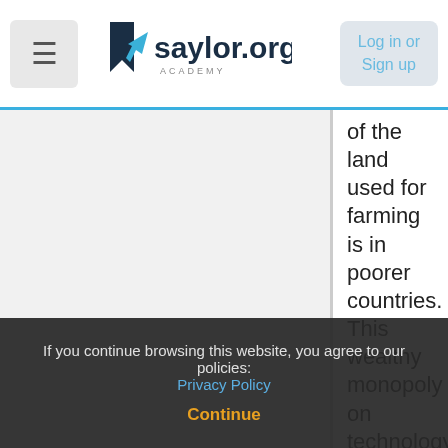saylor.org academy — Log in or Sign up
of the land used for farming is in poorer countries. This wealthy monopoly on technology allows wealthy countries to maintain a position of power over poorer states, which replicates the past's colonial relations. This relates to earlie questions in thi
If you continue browsing this website, you agree to our policies: Privacy Policy
Continue